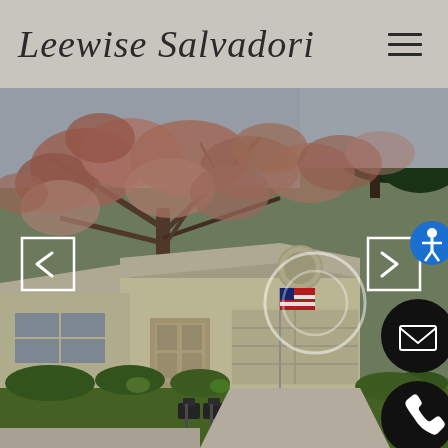Leewise Salvadori
[Figure (photo): Exterior photo of a single-story yellow/beige suburban house with a large garage, American flag on porch, deciduous tree with reddish leaves in foreground, green lawn, mailboxes at curb. Navigation arrows (left/right) overlaid on photo. Email and phone contact buttons on right side. Accessibility button top-right.]